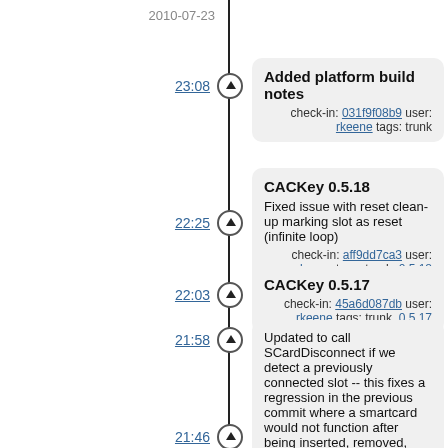2010-07-23
23:08 — Added platform build notes
check-in: 031f9f08b9 user: rkeene tags: trunk
22:25 — CACKey 0.5.18
Fixed issue with reset clean-up marking slot as reset (infinite loop)
check-in: aff9dd7ca3 user: rkeene tags: trunk, 0.5.18
22:03 — CACKey 0.5.17
check-in: 45a6d087db user: rkeene tags: trunk, 0.5.17
21:58 — Updated to call SCardDisconnect if we detect a previously connected slot -- this fixes a regression in the previous commit where a smartcard would not function after being inserted, removed, and reinserted
check-in: 84aaf35a0e user: rkeene tags: trunk
21:46 — Consolidated slot resetting into a single function.
Updated slot resetting to invalidate slot PC/SC